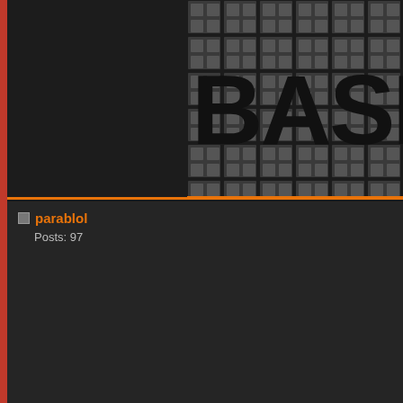[Figure (screenshot): Forum banner with 'BASIC S...' text on a grid/checkerboard background]
parablol
Posts: 97
Re: [IC] SA Recall
« Reply #7 on: Tue, 25 August 2020, 09:08:...
Since your legends are all black, you might lower the cost.
Langelandia
Thread Starter
[Figure (photo): User avatar photo showing a person with a cat]
Re: [IC] SA Recall
« Reply #8 on: Tue, 25 August 2020, 09:08:...
Quote from: lbaron on Tue, 25 August 2020, 09:01:...
Very awesome and with SP seeming to have quicke... consider 1-1-2-3-4-4 like SA camping did?
We went back and forth on the bottom row b...
I do like SP's lead times currently and in spe...